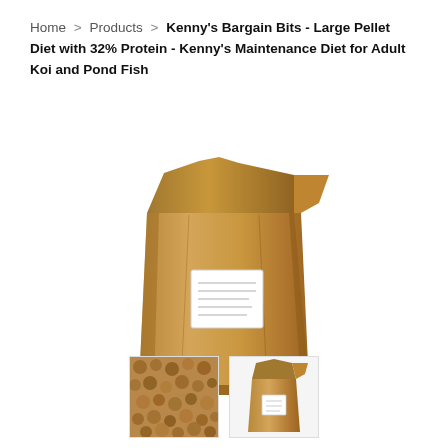Home > Products > Kenny's Bargain Bits - Large Pellet Diet with 32% Protein - Kenny's Maintenance Diet for Adult Koi and Pond Fish
[Figure (photo): Large brown paper sack/bag of fish food pellets with a small white label on the front]
[Figure (photo): Thumbnail image of fish food pellets (small round brown pellets close-up)]
[Figure (photo): Thumbnail image of a smaller brown paper bag of fish food]